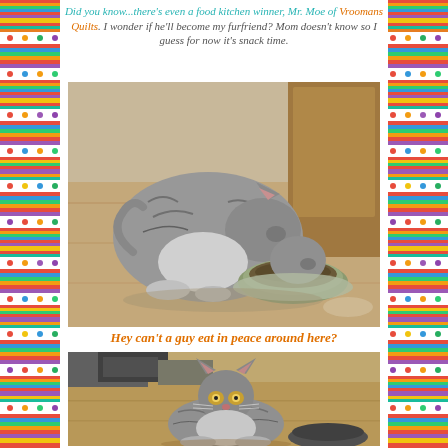[Figure (illustration): Decorative colorful striped border with polka dots on left and right sides of the page]
Did you know...there's even a food kitchen winner, Mr. Moe of Vroomans Quilts. I wonder if he'll become my furfriend? Mom doesn't know so I guess for now it's snack time.
[Figure (photo): A gray tabby cat eating from a green food bowl on a wooden floor, hunched over with head down]
Hey can't a guy eat in peace around here?
[Figure (photo): A gray tabby cat sitting on a wooden floor looking at the camera with glowing eyes, with a food bowl nearby]